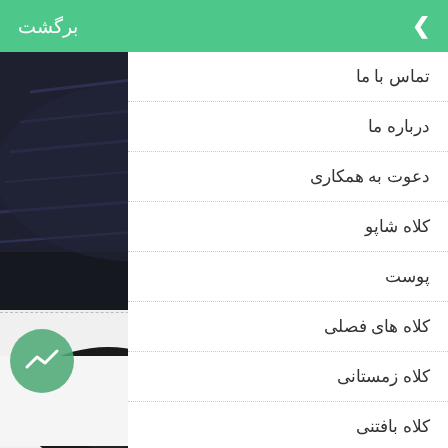برگشت
[Figure (photo): Dark navy folded textile/fabric product]
[Figure (photo): Black baseball cap viewed from below]
تماس با ما
درباره ما
دعوت به همکاری
کلاه شاپو
پوست
کلاه های فصلی
کلاه زمستانی
کلاه بافتنی
( ای . در این کلاه از جنس سه ک ومناسب افراد خوش ا ندگ اور می باش